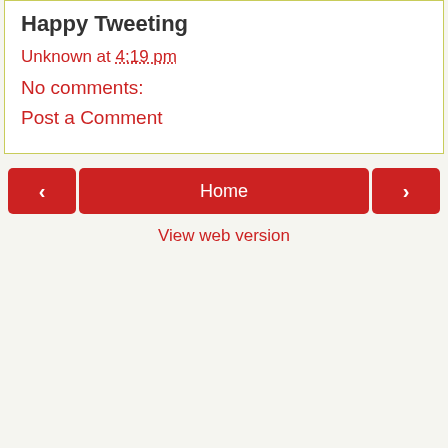Happy Tweeting
Unknown at 4:19 pm
No comments:
Post a Comment
‹  Home  ›
View web version